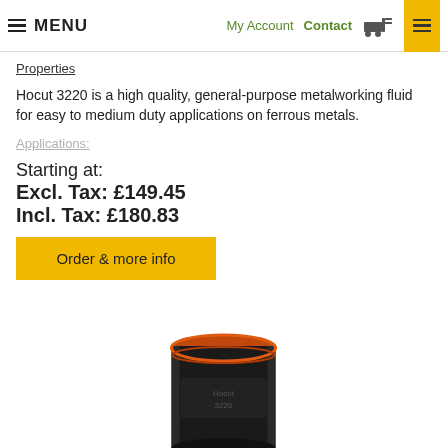MENU   My Account   Contact
Properties
Hocut 3220 is a high quality, general-purpose metalworking fluid for easy to medium duty applications on ferrous metals.
Applications:
Starting at:
Excl. Tax: £149.45
Incl. Tax: £180.83
Order & more info
[Figure (photo): Industrial drum/barrel with black body and orange/red top lid, partially visible, product container for metalworking fluid]